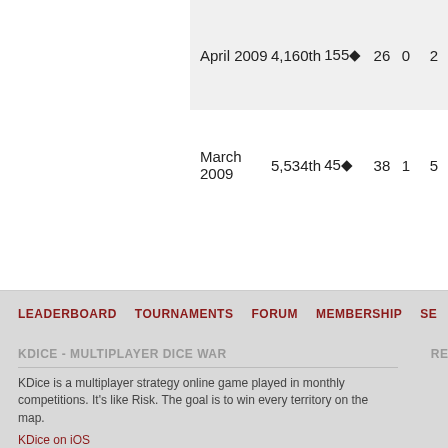| Month | Rank | Score | Col1 | Col2 | Col3 |
| --- | --- | --- | --- | --- | --- |
| April 2009 | 4,160th | 155♦ | 26 | 0 | 2 |
| March 2009 | 5,534th | 45♦ | 38 | 1 | 5 |
LEADERBOARD   TOURNAMENTS   FORUM   MEMBERSHIP   SE...
KDICE - MULTIPLAYER DICE WAR
KDice is a multiplayer strategy online game played in monthly competitions. It's like Risk. The goal is to win every territory on the map.
KDice on iOS
KDice on Twitter
KDice on Facebook
Privacy Policy
CREATED BY RYAN © 2006